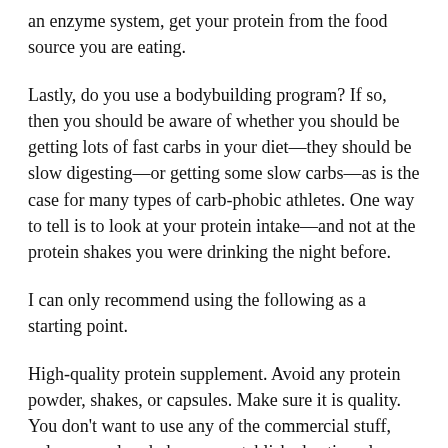an enzyme system, get your protein from the food source you are eating.
Lastly, do you use a bodybuilding program? If so, then you should be aware of whether you should be getting lots of fast carbs in your diet—they should be slow digesting—or getting some slow carbs—as is the case for many types of carb-phobic athletes. One way to tell is to look at your protein intake—and not at the protein shakes you were drinking the night before.
I can only recommend using the following as a starting point.
High-quality protein supplement. Avoid any protein powder, shakes, or capsules. Make sure it is quality. You don't want to use any of the commercial stuff, unless you already have an established eating plan. Make sure to not try to only eat one thing if food is